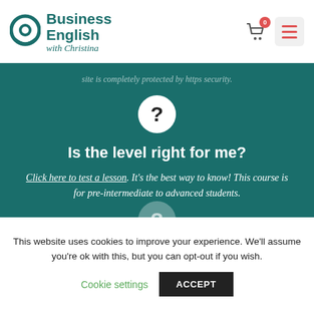[Figure (logo): Business English with Christina logo — teal circular icon with chat bubble and 'Business English with Christina' text]
site is completely protected by https security.
[Figure (illustration): White circle with question mark icon]
Is the level right for me?
Click here to test a lesson. It's the best way to know! This course is for pre-intermediate to advanced students.
[Figure (illustration): Semi-transparent circle with question mark icon (partially visible at bottom)]
This website uses cookies to improve your experience. We'll assume you're ok with this, but you can opt-out if you wish.
Cookie settings   ACCEPT